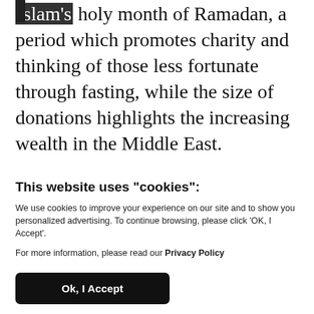Islam's holy month of Ramadan, a period which promotes charity and thinking of those less fortunate through fasting, while the size of donations highlights the increasing wealth in the Middle East.
The Ghurairs are one of the leading merchant families in the United Arab Emirates and their business interests...
This website uses "cookies":
We use cookies to improve your experience on our site and to show you personalized advertising. To continue browsing, please click 'OK, I Accept'.
For more information, please read our Privacy Policy
Ok, I Accept